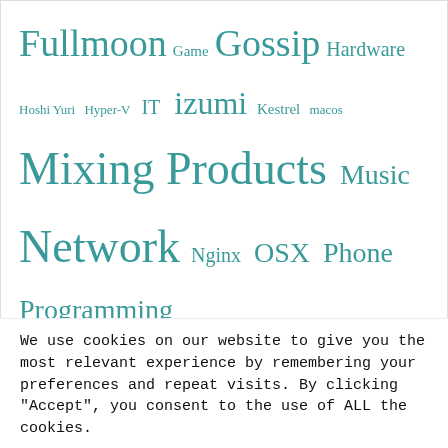Fullmoon Game Gossip Hardware Hoshi Yuri Hyper-V IT izumi Kestrel macos Mixing Products Music Network Nginx OSX Phone Programming sandisk Security SharePoint SherryRere Shoko ShortUrl Skylark SoftEther Software systemd ubuntu Virtualization VMware vSphere wds Windows
We use cookies on our website to give you the most relevant experience by remembering your preferences and repeat visits. By clicking "Accept", you consent to the use of ALL the cookies.
Do not sell my personal information.
Cookie Settings   Accept